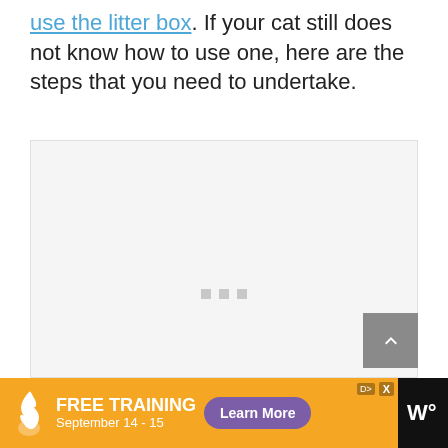use the litter box. If your cat still does not know how to use one, here are the steps that you need to undertake.
[Figure (photo): Large image placeholder with loading dots indicator, showing a mostly white/light gray area with three small gray squares in the center-lower area indicating loading state.]
[Figure (other): Advertisement banner: orange background with FREE TRAINING text, September 14-15, Learn More purple button, flame/bird logo on left, W logo on right side on black background.]